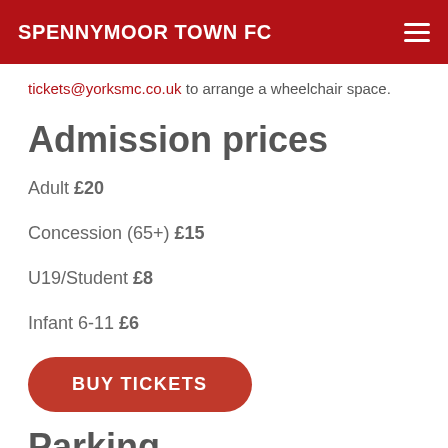SPENNYMOOR TOWN FC
tickets@yorksmc.co.uk to arrange a wheelchair space.
Admission prices
Adult £20
Concession (65+) £15
U19/Student £8
Infant 6-11 £6
BUY TICKETS
Parking